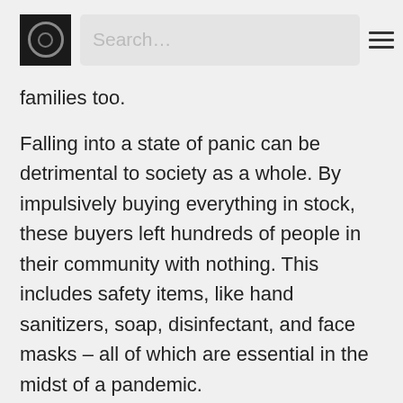Search…
families too.
Falling into a state of panic can be detrimental to society as a whole. By impulsively buying everything in stock, these buyers left hundreds of people in their community with nothing. This includes safety items, like hand sanitizers, soap, disinfectant, and face masks – all of which are essential in the midst of a pandemic.
Such behavior also led to those who need the masks the most, not having any. This category of people includes doctors, nurses, healthcare workers, grocery-store attendees, police officers, and all those who qualified as essential workers. Many frontline